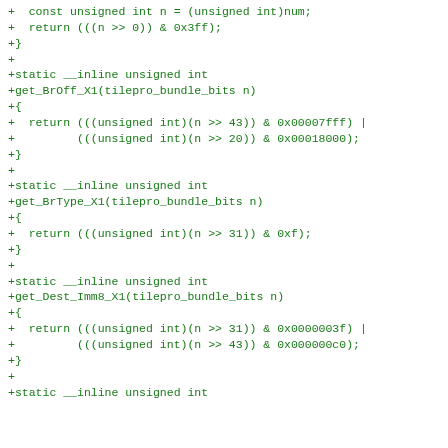+  const unsigned int n = (unsigned int)num;
+  return (((n >> 0)) & 0x3ff);
+}
+
+static __inline unsigned int
+get_BrOff_X1(tilepro_bundle_bits n)
+{
+  return (((unsigned int)(n >> 43)) & 0x00007fff) |
+         (((unsigned int)(n >> 20)) & 0x00018000);
+}
+
+static __inline unsigned int
+get_BrType_X1(tilepro_bundle_bits n)
+{
+  return (((unsigned int)(n >> 31)) & 0xf);
+}
+
+static __inline unsigned int
+get_Dest_Imm8_X1(tilepro_bundle_bits n)
+{
+  return (((unsigned int)(n >> 31)) & 0x0000003f) |
+         (((unsigned int)(n >> 43)) & 0x000000c0);
+}
+
+static __inline unsigned int